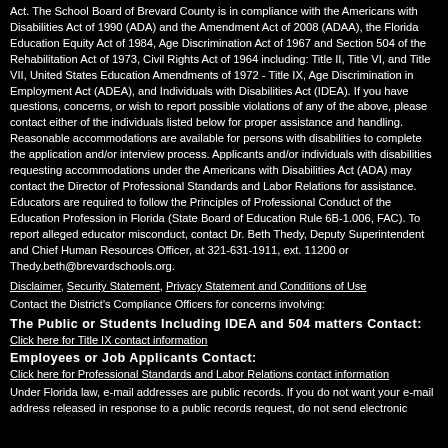Act. The School Board of Brevard County is in compliance with the Americans with Disabilities Act of 1990 (ADA) and the Amendment Act of 2008 (ADAA), the Florida Education Equity Act of 1984, Age Discrimination Act of 1967 and Section 504 of the Rehabilitation Act of 1973, Civil Rights Act of 1964 including: Title II, Title VI, and Title VII, United States Education Amendments of 1972 - Title IX, Age Discrimination in Employment Act (ADEA), and Individuals with Disabilities Act (IDEA). If you have questions, concerns, or wish to report possible violations of any of the above, please contact either of the individuals listed below for proper assistance and handling. Reasonable accommodations are available for persons with disabilities to complete the application and/or interview process. Applicants and/or individuals with disabilities requesting accommodations under the Americans with Disabilities Act (ADA) may contact the Director of Professional Standards and Labor Relations for assistance. Educators are required to follow the Principles of Professional Conduct of the Education Profession in Florida (State Board of Education Rule 6B-1.006, FAC). To report alleged educator misconduct, contact Dr. Beth Thedy, Deputy Superintendent and Chief Human Resources Officer, at 321-631-1911, ext. 11200 or Thedy.beth@brevardschools.org.
Disclaimer, Security Statement, Privacy Statement and Conditions of Use
Contact the District's Compliance Officers for concerns involving:
The Public or Students Including IDEA and 504 matters Contact:
Click here for Title IX contact information
Employees or Job Applicants Contact:
Click here for Professional Standards and Labor Relations contact information
Under Florida law, e-mail addresses are public records. If you do not want your e-mail address released in response to a public records request, do not send electronic